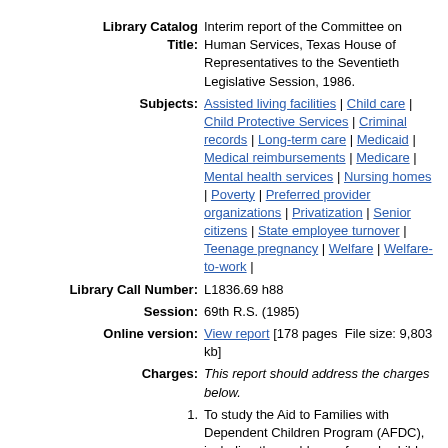Library Catalog Title: Interim report of the Committee on Human Services, Texas House of Representatives to the Seventieth Legislative Session, 1986.
Subjects: Assisted living facilities | Child care | Child Protective Services | Criminal records | Long-term care | Medicaid | Medical reimbursements | Medicare | Mental health services | Nursing homes | Poverty | Preferred provider organizations | Privatization | Senior citizens | State employee turnover | Teenage pregnancy | Welfare | Welfare-to-work |
Library Call Number: L1836.69 h88
Session: 69th R.S. (1985)
Online version: View report [178 pages  File size: 9,803 kb]
Charges: This report should address the charges below.
1. To study the Aid to Families with Dependent Children Program (AFDC), including the problems of needy children and their families, the various employment, training and education